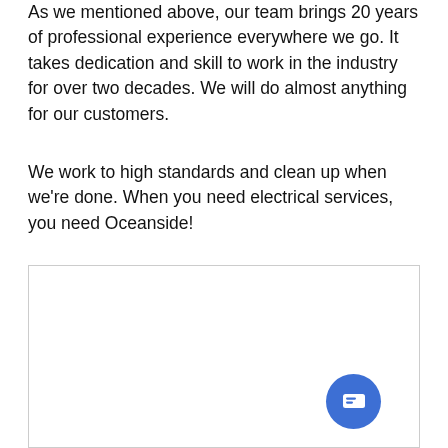As we mentioned above, our team brings 20 years of professional experience everywhere we go. It takes dedication and skill to work in the industry for over two decades. We will do almost anything for our customers.
We work to high standards and clean up when we're done. When you need electrical services, you need Oceanside!
[Figure (other): Embedded content box with a blue circular chat button in the bottom right corner containing a message/chat icon.]